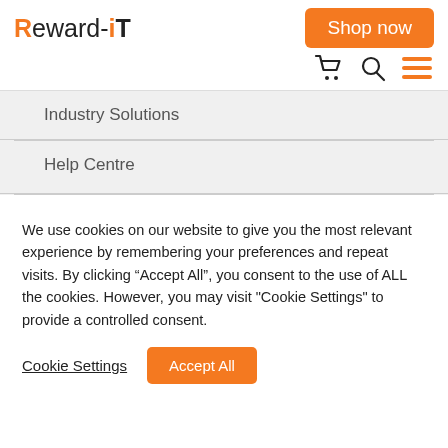[Figure (logo): Reward-iT logo in orange and black text]
Shop now
[Figure (other): Navigation icons: shopping cart, search magnifier, hamburger menu in orange]
Industry Solutions
Help Centre
We use cookies on our website to give you the most relevant experience by remembering your preferences and repeat visits. By clicking “Accept All”, you consent to the use of ALL the cookies. However, you may visit "Cookie Settings" to provide a controlled consent.
Cookie Settings
Accept All